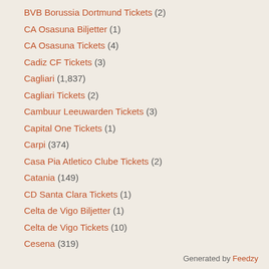BVB Borussia Dortmund Tickets (2)
CA Osasuna Biljetter (1)
CA Osasuna Tickets (4)
Cadiz CF Tickets (3)
Cagliari (1,837)
Cagliari Tickets (2)
Cambuur Leeuwarden Tickets (3)
Capital One Tickets (1)
Carpi (374)
Casa Pia Atletico Clube Tickets (2)
Catania (149)
CD Santa Clara Tickets (1)
Celta de Vigo Biljetter (1)
Celta de Vigo Tickets (10)
Cesena (319)
Generated by Feedzy